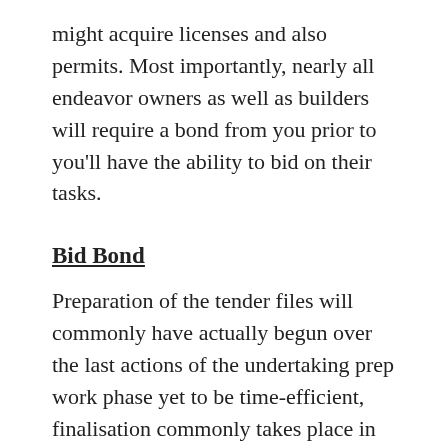might acquire licenses and also permits. Most importantly, nearly all endeavor owners as well as builders will require a bond from you prior to you'll have the ability to bid on their tasks.
Bid Bond
Preparation of the tender files will commonly have actually begun over the last actions of the undertaking prep work phase yet to be time-efficient, finalisation commonly takes place in the course of the prequalification duration. To realize quote bonds for construction jobs, you initially require to understand what guaranty bonds are. Simply placed, surety bonds are a 3 get together agreement in between a